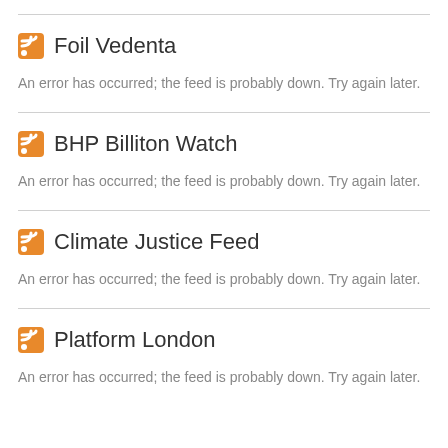noreply@blogger.com (Unknown)
Foil Vedenta
An error has occurred; the feed is probably down. Try again later.
BHP Billiton Watch
An error has occurred; the feed is probably down. Try again later.
Climate Justice Feed
An error has occurred; the feed is probably down. Try again later.
Platform London
An error has occurred; the feed is probably down. Try again later.